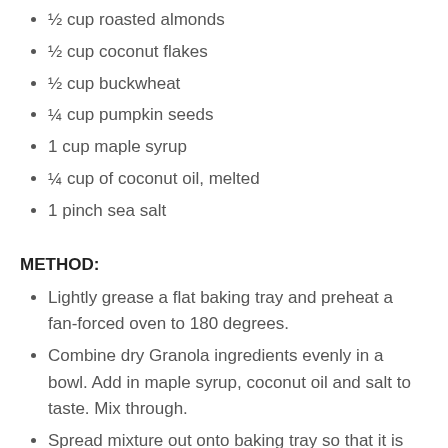½ cup roasted almonds
½ cup coconut flakes
½ cup buckwheat
¼ cup pumpkin seeds
1 cup maple syrup
¼ cup of coconut oil, melted
1 pinch sea salt
METHOD:
Lightly grease a flat baking tray and preheat a fan-forced oven to 180 degrees.
Combine dry Granola ingredients evenly in a bowl. Add in maple syrup, coconut oil and salt to taste. Mix through.
Spread mixture out onto baking tray so that it is flat and even. Put into oven for around 10-12